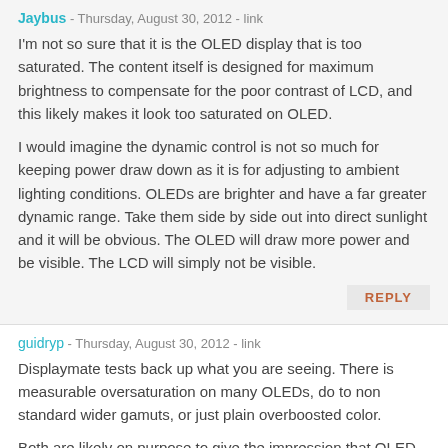Jaybus - Thursday, August 30, 2012 - link
I'm not so sure that it is the OLED display that is too saturated. The content itself is designed for maximum brightness to compensate for the poor contrast of LCD, and this likely makes it look too saturated on OLED.
I would imagine the dynamic control is not so much for keeping power draw down as it is for adjusting to ambient lighting conditions. OLEDs are brighter and have a far greater dynamic range. Take them side by side out into direct sunlight and it will be obvious. The OLED will draw more power and be visible. The LCD will simply not be visible.
REPLY
guidryp - Thursday, August 30, 2012 - link
Displaymate tests back up what you are seeing. There is measurable oversaturation on many OLEDs, do to non standard wider gamuts, or just plain overboosted color.
Both are likely on purpose to give the impression that OLED has more vivid colors.
I prefer accuracy and standard gamuts, so colors look realistic.